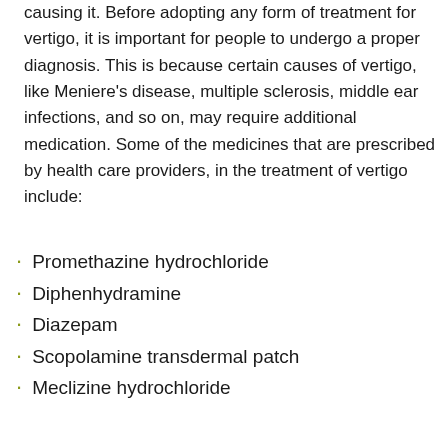causing it. Before adopting any form of treatment for vertigo, it is important for people to undergo a proper diagnosis. This is because certain causes of vertigo, like Meniere’s disease, multiple sclerosis, middle ear infections, and so on, may require additional medication. Some of the medicines that are prescribed by health care providers, in the treatment of vertigo include:
Promethazine hydrochloride
Diphenhydramine
Diazepam
Scopolamine transdermal patch
Meclizine hydrochloride